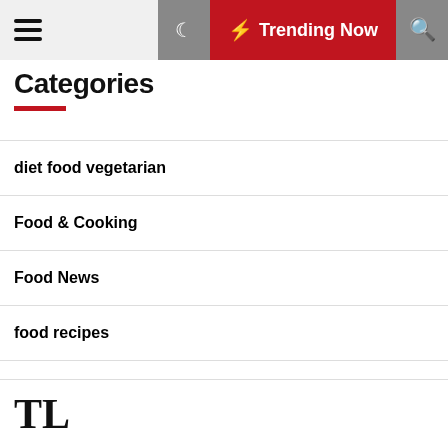☰  ☽  ⚡ Trending Now  🔍
Categories
diet food vegetarian
Food & Cooking
Food News
food recipes
healthy food
Trending Coffee
TL